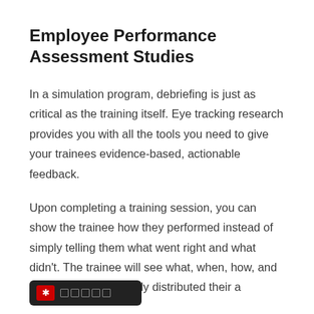Employee Performance Assessment Studies
In a simulation program, debriefing is just as critical as the training itself. Eye tracking research provides you with all the tools you need to give your trainees evidence-based, actionable feedback.
Upon completing a training session, you can show the trainee how they performed instead of simply telling them what went right and what didn't. The trainee will see what, when, how, and w[...]instinctually distributed their a[...]